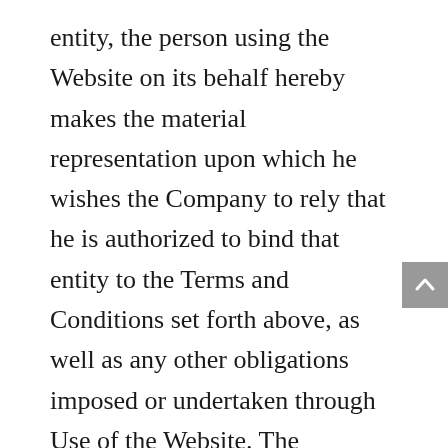entity, the person using the Website on its behalf hereby makes the material representation upon which he wishes the Company to rely that he is authorized to bind that entity to the Terms and Conditions set forth above, as well as any other obligations imposed or undertaken through Use of the Website. The Company reserves the right to terminate the User's access to, and use of, whether as an individual or entity, the Website and any of its contents, including, without limitation,